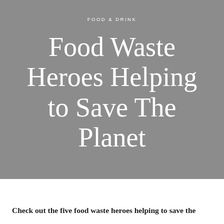FOOD & DRINK
Food Waste Heroes Helping to Save The Planet
Check out the five food waste heroes helping to save the